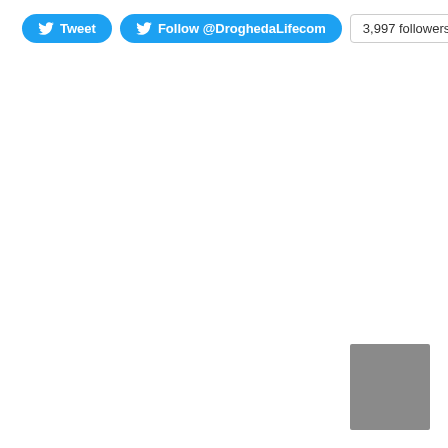[Figure (screenshot): Twitter Tweet button, Follow @DroghedaLifecom button, and 3,997 followers badge]
[Figure (other): Gray rectangular placeholder box in lower right corner]